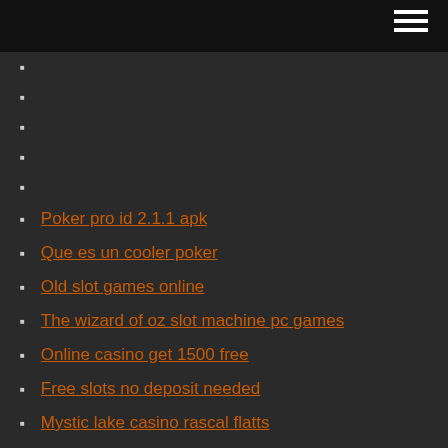Poker pro id 2.1.1 apk
Que es un cooler poker
Old slot games online
The wizard of oz slot machine pc games
Online casino get 1500 free
Free slots no deposit needed
Mystic lake casino rascal flatts
Zynga poker mod apk free download
Fun casino hire northern ireland